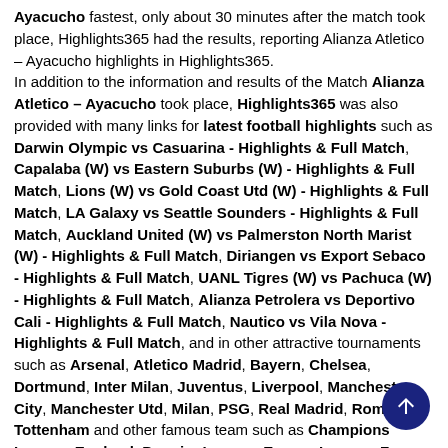Ayacucho fastest, only about 30 minutes after the match took place, Highlights365 had the results, reporting Alianza Atletico – Ayacucho highlights in Highlights365. In addition to the information and results of the Match Alianza Atletico – Ayacucho took place, Highlights365 was also provided with many links for latest football highlights such as Darwin Olympic vs Casuarina - Highlights & Full Match, Capalaba (W) vs Eastern Suburbs (W) - Highlights & Full Match, Lions (W) vs Gold Coast Utd (W) - Highlights & Full Match, LA Galaxy vs Seattle Sounders - Highlights & Full Match, Auckland United (W) vs Palmerston North Marist (W) - Highlights & Full Match, Diriangen vs Export Sebaco - Highlights & Full Match, UANL Tigres (W) vs Pachuca (W) - Highlights & Full Match, Alianza Petrolera vs Deportivo Cali - Highlights & Full Match, Nautico vs Vila Nova - Highlights & Full Match, and in other attractive tournaments such as Arsenal, Atletico Madrid, Bayern, Chelsea, Dortmund, Inter Milan, Juventus, Liverpool, Manchester City, Manchester Utd, Milan, PSG, Real Madrid, Roma, Tottenham and other famous team such as Champions League, England. Premier League, Europa League, France. Ligue 1, Germany. Bundesliga, Italy. Serie A, Spain. Primera Division .... Highlights365 is a popular sport website for sharing football highlights and live...